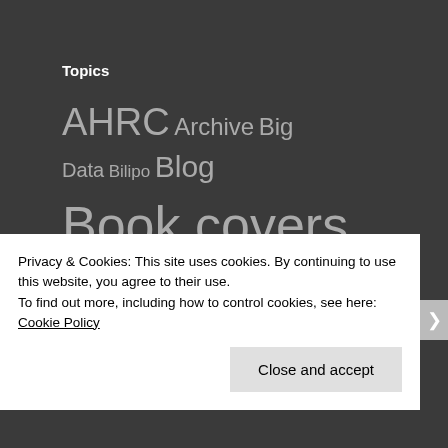Topics
AHRC Archive Big Data Bilipo Blog Book covers Book Reviews CFP Circulation
Privacy & Cookies: This site uses cookies. By continuing to use this website, you agree to their use.
To find out more, including how to control cookies, see here: Cookie Policy
Close and accept